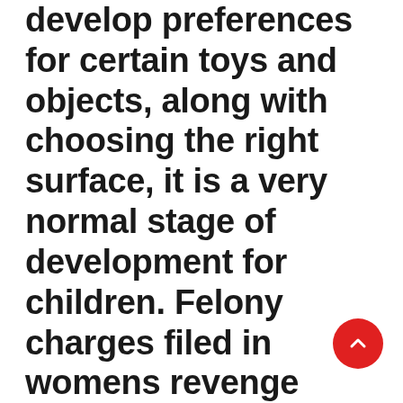develop preferences for certain toys and objects, along with choosing the right surface, it is a very normal stage of development for children. Felony charges filed in womens revenge attack on fond du lac man. His mate waited until he had fallen into his usual deep sleep then gently applied one